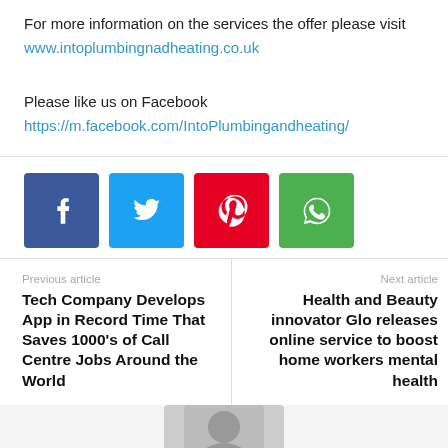For more information on the services the offer please visit www.intoplumbingnadheating.co.uk
Please like us on Facebook https://m.facebook.com/IntoPlumbingandheating/
[Figure (infographic): Four social media share buttons: Facebook (blue), Twitter (light blue), Pinterest (red), WhatsApp (green)]
Previous article
Tech Company Develops App in Record Time That Saves 1000’s of Call Centre Jobs Around the World
Next article
Health and Beauty innovator Glo releases online service to boost home workers mental health
[Figure (photo): Partial photo of a person's face at the bottom of the page]